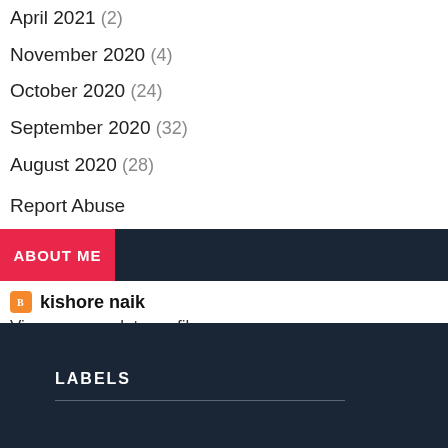April 2021 (2)
November 2020 (4)
October 2020 (24)
September 2020 (32)
August 2020 (28)
Report Abuse
ABOUT ME
kishore naik
View my complete profile
LABELS
LABELS